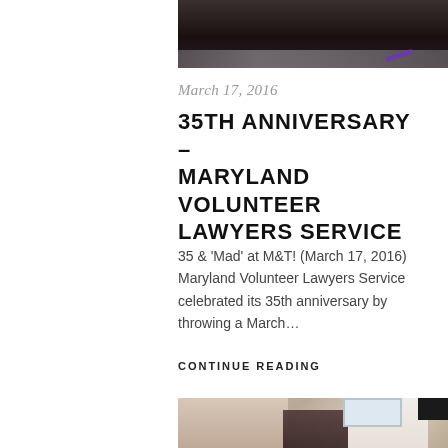[Figure (photo): Partial photo of people at an event, dark background with dance floor visible]
March 17, 2016
35TH ANNIVERSARY – MARYLAND VOLUNTEER LAWYERS SERVICE
35 & 'Mad' at M&T! (March 17, 2016) Maryland Volunteer Lawyers Service celebrated its 35th anniversary by throwing a March...
CONTINUE READING
[Figure (photo): Three people at an event: a woman with dark hair on left, a woman in middle, and a man in white shirt on right, appearing to interact]